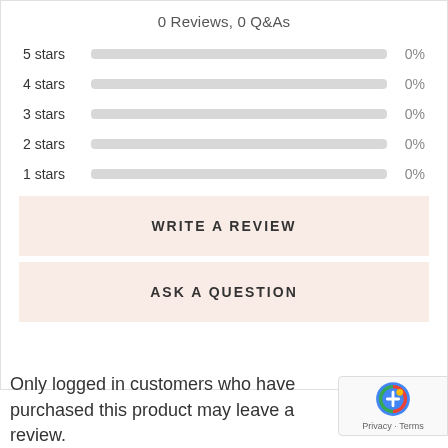0 Reviews, 0 Q&As
[Figure (bar-chart): Star ratings distribution]
WRITE A REVIEW
ASK A QUESTION
Only logged in customers who have purchased this product may leave a review.
[Figure (logo): reCAPTCHA badge with Privacy · Terms text]